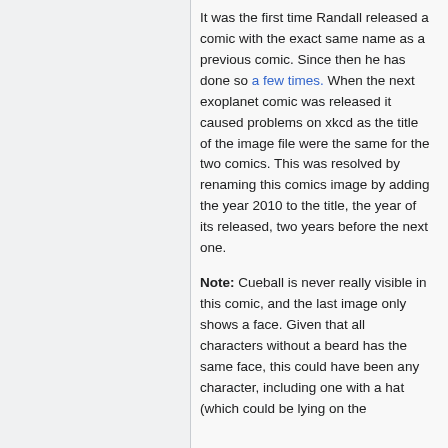It was the first time Randall released a comic with the exact same name as a previous comic. Since then he has done so a few times. When the next exoplanet comic was released it caused problems on xkcd as the title of the image file were the same for the two comics. This was resolved by renaming this comics image by adding the year 2010 to the title, the year of its released, two years before the next one.
Note: Cueball is never really visible in this comic, and the last image only shows a face. Given that all characters without a beard has the same face, this could have been any character, including one with a hat (which could be lying on the